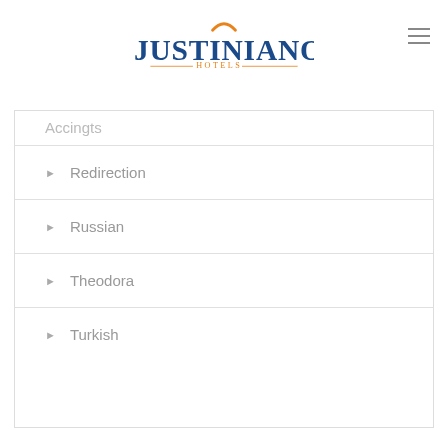[Figure (logo): Justiniano Hotels logo — JUSTINIANO in large blue serif letters with an orange arch above the N, HOTELS in small orange text centered below with decorative lines]
Redirection
Russian
Theodora
Turkish